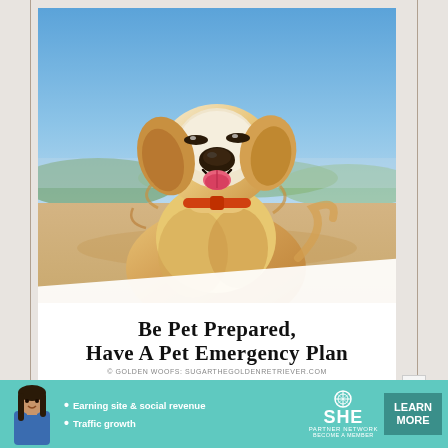[Figure (photo): Golden retriever dog smiling outdoors on a hilltop with blue sky and city landscape in background, wearing an orange collar]
Be Pet Prepared, Have A Pet Emergency Plan
© GOLDEN WOOFS: SUGARTHEGOLDENRETRIEVER.COM
[Figure (infographic): SHE Partner Network advertisement banner with woman photo, bullets: Earning site & social revenue, Traffic growth. Logo: SHE PARTNER NETWORK BECOME A MEMBER. Button: LEARN MORE]